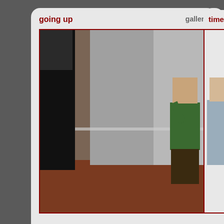[Figure (screenshot): Card with title 'going up' and tag 'gallery', showing a 3D rendered scene of characters in an elevator/hallway]
[Figure (screenshot): Card with title 'time will t...' (partially visible), showing a 3D rendered scene of a person near a window]
[Figure (screenshot): Card with title 'maid service royal edition' and tag 'product', showing product image with 'Maid Service' text and decorative vase, with text 'now released!']
[Figure (screenshot): Card partially visible at right with title 'cheap tric...' showing a 3D rendered scene with a red-haired character]